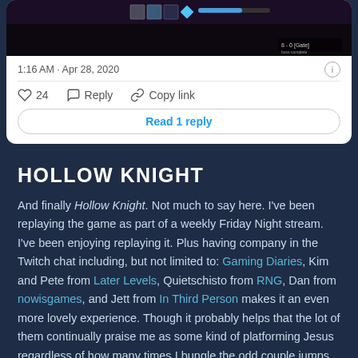[Figure (screenshot): Screenshot of a video game (Hollow Knight or similar) showing game HUD elements, icons, and a score display reading '8 - 0 [Gate]']
1:16 AM · Apr 28, 2020
24  Reply  Copy link
Read 1 reply
HOLLOW KNIGHT
And finally Hollow Knight. Not much to say here. I've been replaying the game as part of a weekly Friday Night stream. I've been enjoying replaying it. Plus having company in the Twitch chat including, but not limited to: Gaming Diaries, Kim and Pete from Later Levels, Quietschisto from RNG, Dan from nowisgames, and Jett from In Third Person makes it an even more lovely experience. Though it probably helps that the lot of them continually praise me as some kind of platforming Jesus regardless of how many times I bungle the odd couple jumps.